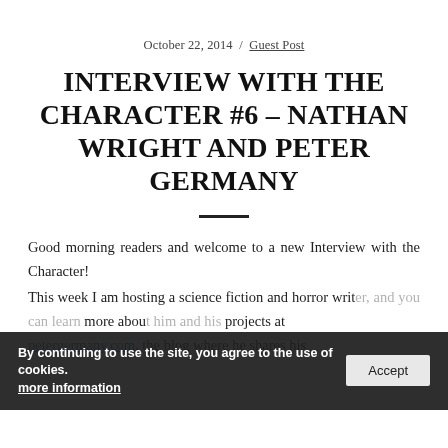October 22, 2014 / Guest Post
INTERVIEW WITH THE CHARACTER #6 – NATHAN WRIGHT AND PETER GERMANY
Good morning readers and welcome to a new Interview with the Character!
This week I am hosting a science fiction and horror writer, and you can learn more about him and his projects at petergermany.com, the blog where he shares his